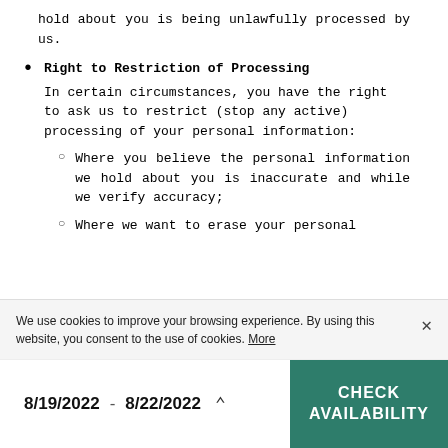hold about you is being unlawfully processed by us.
Right to Restriction of Processing
In certain circumstances, you have the right to ask us to restrict (stop any active) processing of your personal information:
Where you believe the personal information we hold about you is inaccurate and while we verify accuracy;
Where we want to erase your personal
We use cookies to improve your browsing experience. By using this website, you consent to the use of cookies. More
8/19/2022  -  8/22/2022   CHECK AVAILABILITY